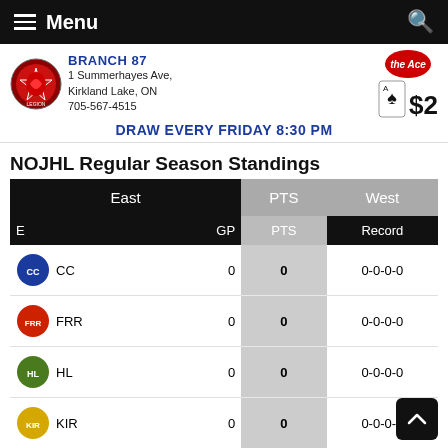Menu
[Figure (infographic): Legion Branch 87 advertisement banner. Shows Legion logo, address: 1 Summerhayes Ave, Kirkland Lake, ON, 705-567-4515. 'the Ace' with $2 playing card graphic. DRAW EVERY FRIDAY 8:30 PM]
NOJHL Regular Season Standings
| E | GP | PTS | Record |
| --- | --- | --- | --- |
| CC | 0 | 0 | 0-0-0-0 |
| FRR | 0 | 0 | 0-0-0-0 |
| HL | 0 | 0 | 0-0-0-0 |
| KIR | 0 | 0 | 0-0-0-0 |